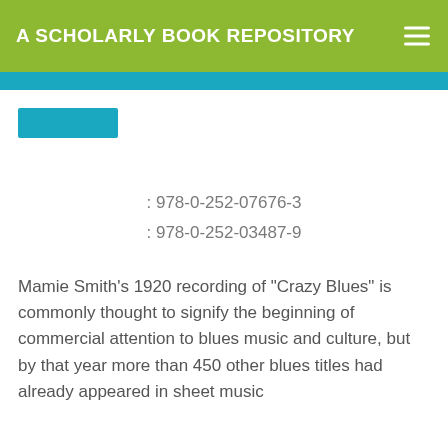A SCHOLARLY BOOK REPOSITORY
[Figure (other): Blue rectangular button/placeholder]
: 978-0-252-07676-3
: 978-0-252-03487-9
Mamie Smith's 1920 recording of "Crazy Blues" is commonly thought to signify the beginning of commercial attention to blues music and culture, but by that year more than 450 other blues titles had already appeared in sheet music